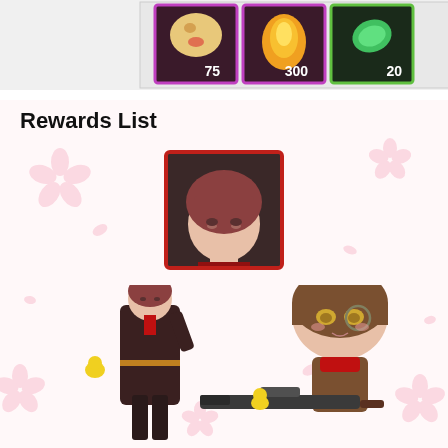[Figure (illustration): Game UI item strip showing three reward items: a round bread/egg item with count 75 (purple border), a flame/fire item with count 300 (purple border), and a green leaf/plant item with count 20 (green border)]
Rewards List
[Figure (illustration): Character portrait thumbnail showing an anime-style female character with red/brown hair, red-bordered square frame]
[Figure (illustration): Full-page anime illustration showing two chibi/full-body anime characters on a sakura blossom background: left is a tall character in dark coat holding a gun with a small yellow bird; right is a chibi character with brown hair, round glasses, and a large sniper rifle. Sakura flowers decorate the background.]